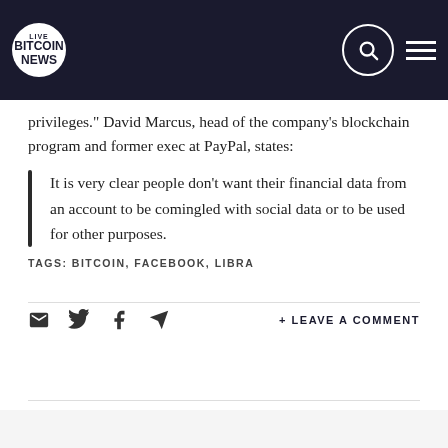LIVE BITCOIN NEWS
privileges." David Marcus, head of the company's blockchain program and former exec at PayPal, states:
It is very clear people don't want their financial data from an account to be comingled with social data or to be used for other purposes.
TAGS: BITCOIN, FACEBOOK, LIBRA
+ LEAVE A COMMENT